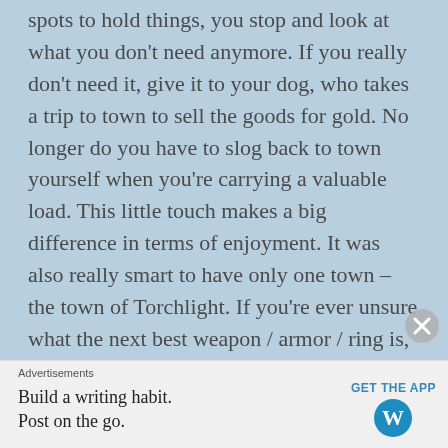spots to hold things, you stop and look at what you don't need anymore. If you really don't need it, give it to your dog, who takes a trip to town to sell the goods for gold. No longer do you have to slog back to town yourself when you're carrying a valuable load. This little touch makes a big difference in terms of enjoyment. It was also really smart to have only one town – the town of Torchlight. If you're ever unsure what the next best weapon / armor / ring is, chances are good it's being sold in the only town. Also, there's no backtracking. You're either in the dungeon on a quest, or in town doing more mundane things.

The artwork in Torchlight is just great. The game wasn't pushing the limits of PC hardware upon
Advertisements
Build a writing habit. Post on the go. GET THE APP